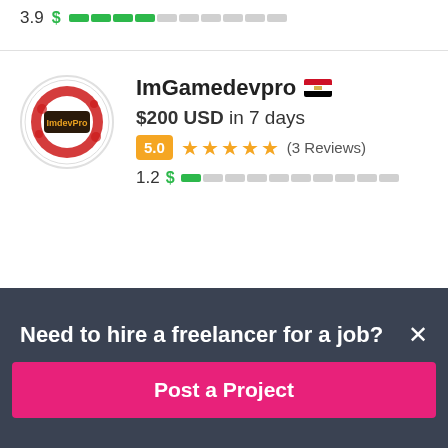3.9  $ ████░░░░░░
[Figure (screenshot): Freelancer profile card for ImGamedevpro with Egyptian flag, $200 USD in 7 days bid, 5.0 rating badge, 5 orange stars, (3 Reviews), and 1.2 $ bar indicator]
ImGamedevpro
$200 USD in 7 days
5.0 ★★★★★ (3 Reviews)
1.2  $ █░░░░░░░░░
Need to hire a freelancer for a job?
Post a Project